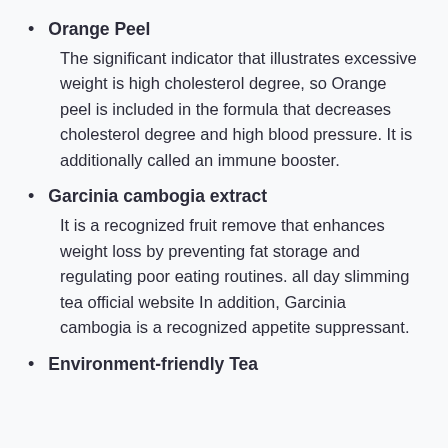Orange Peel — The significant indicator that illustrates excessive weight is high cholesterol degree, so Orange peel is included in the formula that decreases cholesterol degree and high blood pressure. It is additionally called an immune booster.
Garcinia cambogia extract — It is a recognized fruit remove that enhances weight loss by preventing fat storage and regulating poor eating routines. all day slimming tea official website In addition, Garcinia cambogia is a recognized appetite suppressant.
Environment-friendly Tea